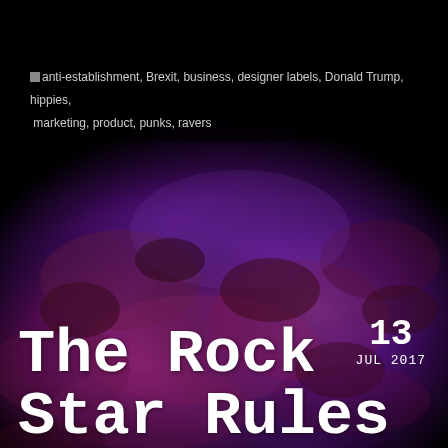[Figure (illustration): Dark purple and maroon nebula/galaxy textured background filling the lower two-thirds of the page, with a solid black bar at the top.]
anti-establishment, Brexit, business, designer labels, Donald Trump, hippies, marketing, product, punks, ravers
The Rock Star Rules
13 JUL 2017